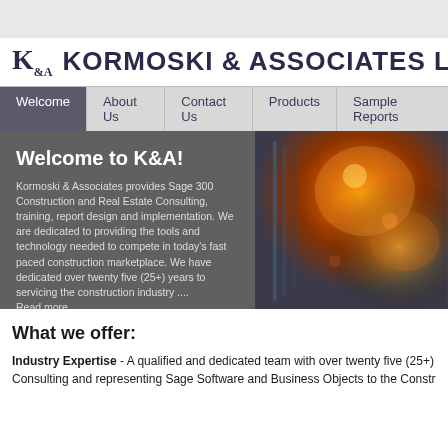KORMOSKI & ASSOCIATES LLC
Welcome | About Us | Contact Us | Products | Sample Reports
[Figure (screenshot): Website hero banner with dark grey background on left showing welcome text and a construction/industrial photo on the right with orange/red glowing lights]
What we offer:
Industry Expertise - A qualified and dedicated team with over twenty five (25+) Consulting and representing Sage Software and Business Objects to the Constr